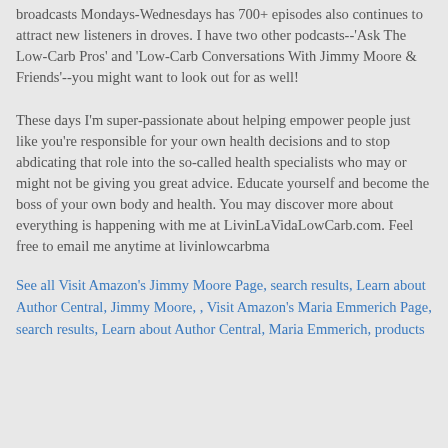broadcasts Mondays-Wednesdays has 700+ episodes also continues to attract new listeners in droves. I have two other podcasts--'Ask The Low-Carb Pros' and 'Low-Carb Conversations With Jimmy Moore & Friends'--you might want to look out for as well!
These days I'm super-passionate about helping empower people just like you're responsible for your own health decisions and to stop abdicating that role into the so-called health specialists who may or might not be giving you great advice. Educate yourself and become the boss of your own body and health. You may discover more about everything is happening with me at LivinLaVidaLowCarb.com. Feel free to email me anytime at livinlowcarbma
See all Visit Amazon's Jimmy Moore Page, search results, Learn about Author Central, Jimmy Moore, , Visit Amazon's Maria Emmerich Page, search results, Learn about Author Central, Maria Emmerich, products